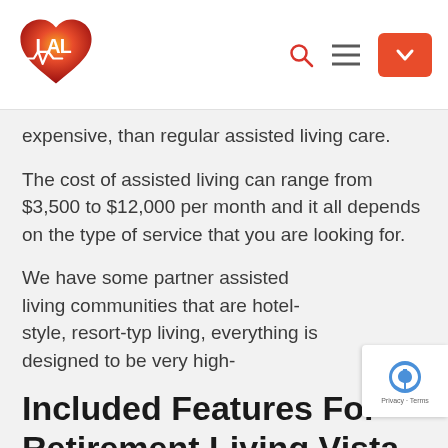[Figure (logo): LAL heart-shaped logo with red-orange gradient and 'LAL' text, with navigation icons including search, hamburger menu, and orange dropdown button]
expensive, than regular assisted living care.
The cost of assisted living can range from $3,500 to $12,000 per month and it all depends on the type of service that you are looking for.
We have some partner assisted living communities that are hotel-style, resort-typ living, everything is designed to be very high-
Included Features For Retirement Living Vista.